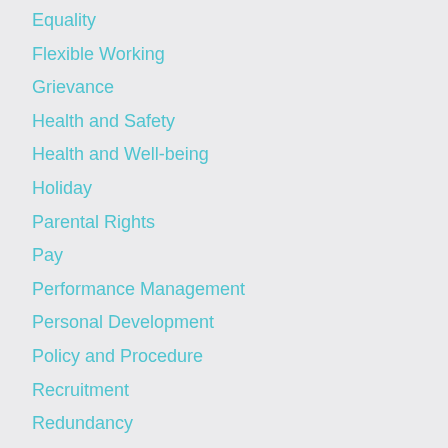Equality
Flexible Working
Grievance
Health and Safety
Health and Well-being
Holiday
Parental Rights
Pay
Performance Management
Personal Development
Policy and Procedure
Recruitment
Redundancy